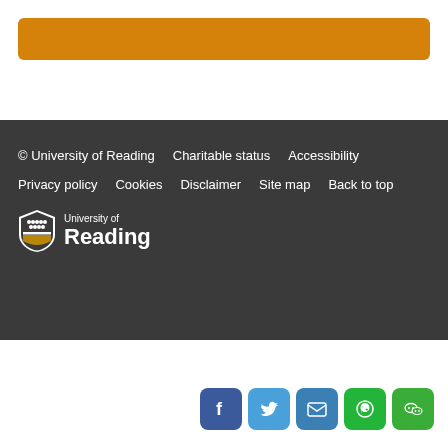[Figure (other): Orange rounded rectangle bar at top of page]
© University of Reading   Charitable status   Accessibility   Privacy policy   Cookies   Disclaimer   Site map   Back to top
[Figure (logo): University of Reading shield logo with text 'University of Reading']
[Figure (other): Social media icons: Facebook, Twitter, Email, WhatsApp, WeChat]